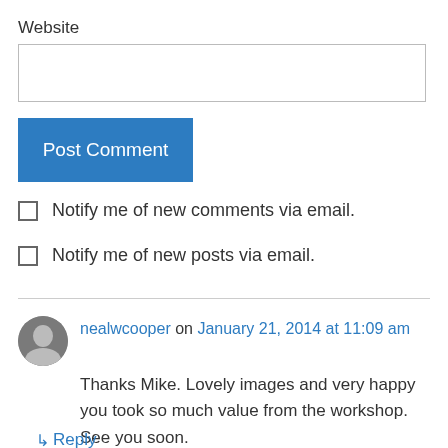Website
Post Comment
Notify me of new comments via email.
Notify me of new posts via email.
nealwcooper on January 21, 2014 at 11:09 am
Thanks Mike. Lovely images and very happy you took so much value from the workshop. See you soon.
Reply